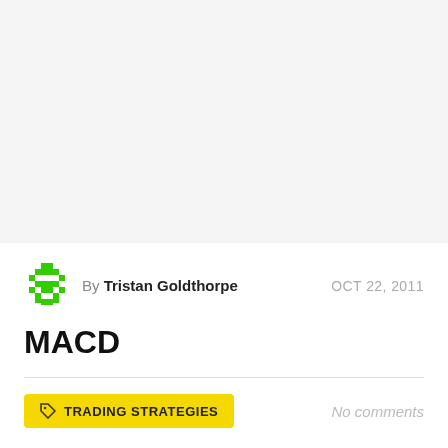By Tristan Goldthorpe  OCT 22, 2011
MACD
TRADING STRATEGIES   No comments